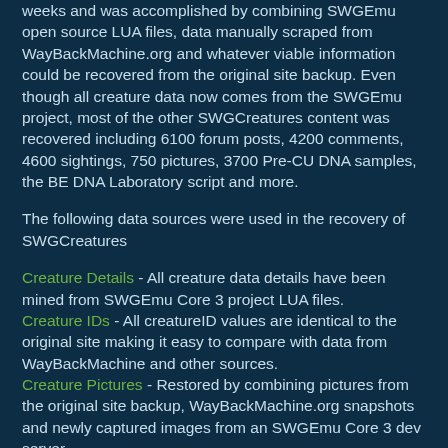weeks and was accomplished by combining SWGEmu open source LUA files, data manually scraped from WayBackMachine.org and whatever viable information could be recovered from the original site backup. Even though all creature data now comes from the SWGEmu project, most of the other SWGCreatures content was recovered including 6100 forum posts, 4200 comments, 4600 sightings, 750 pictures, 3700 Pre-CU DNA samples, the BE DNA Laboratory script and more.
The following data sources were used in the recovery of SWGCreatures
Creature Details - All creature data details have been mined from SWGEmu Core 3 project LUA files.
Creature IDs - All creatureID values are identical to the original site making it easy to compare with data from WayBackMachine and other sources.
Creature Pictures - Restored by combining pictures from the original site backup, WayBackMachine.org snapshots and newly captured images from an SWGEmu Core 3 dev server.
Creature Comments - Restored from the original site backup.
Creature Sighting - Restored from the original site backup.
DNA Samples - Recovered by manually